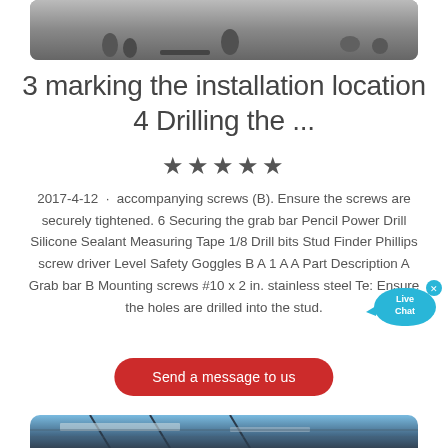[Figure (photo): Construction/installation site photo showing workers and equipment on the ground]
3 marking the installation location 4 Drilling the ...
★★★★★
2017-4-12 · accompanying screws (B). Ensure the screws are securely tightened. 6 Securing the grab bar Pencil Power Drill Silicone Sealant Measuring Tape 1/8 Drill bits Stud Finder Phillips screw driver Level Safety Goggles B A 1 A A Part Description A Grab bar B Mounting screws #10 x 2 in. stainless steel Te: Ensure the holes are drilled into the stud.
Send a message to us
[Figure (photo): Industrial facility or construction site with conveyor belts and structural steel framework against blue sky]